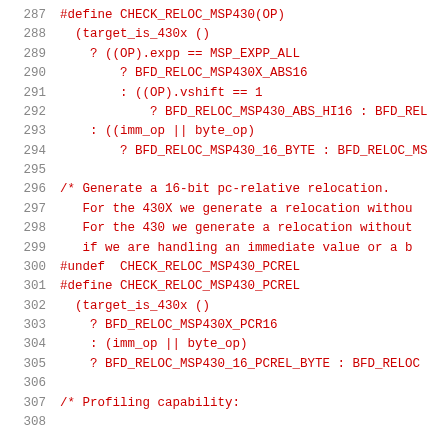287  #define CHECK_RELOC_MSP430(OP)
288    (target_is_430x ()
289      ? ((OP).expp == MSP_EXPP_ALL
290          ? BFD_RELOC_MSP430X_ABS16
291          : ((OP).vshift == 1
292              ? BFD_RELOC_MSP430_ABS_HI16 : BFD_REL
293      : ((imm_op || byte_op)
294          ? BFD_RELOC_MSP430_16_BYTE : BFD_RELOC_MS
295
296  /* Generate a 16-bit pc-relative relocation.
297      For the 430X we generate a relocation withou
298      For the 430 we generate a relocation without
299      if we are handling an immediate value or a b
300  #undef  CHECK_RELOC_MSP430_PCREL
301  #define CHECK_RELOC_MSP430_PCREL
302    (target_is_430x ()
303      ? BFD_RELOC_MSP430X_PCR16
304      : (imm_op || byte_op)
305      ? BFD_RELOC_MSP430_16_PCREL_BYTE : BFD_RELOC
306
307  /* Profiling capability: